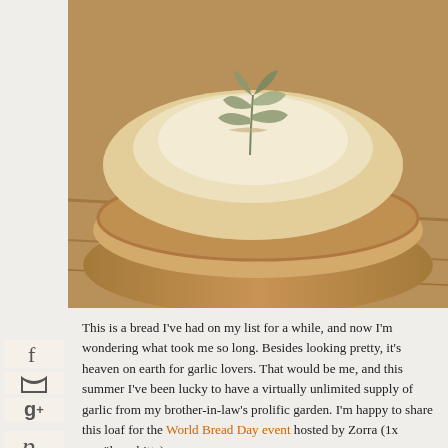[Figure (photo): Artisan bread loaves stacked on a wooden surface, decorated with herb leaf imprints on top, crusty golden-brown exterior]
This is a bread I've had on my list for a while, and now I'm wondering what took me so long. Besides looking pretty, it's heaven on earth for garlic lovers. That would be me, and this summer I've been lucky to have a virtually unlimited supply of garlic from my brother-in-law's prolific garden. I'm happy to share this loaf for the World Bread Day event hosted by Zorra (1x umrühren bitte).
The recipe comes (with a few adaptations) from one of my favorite baking books, Maggie Glezer's Artisan Baking. Whether you are a beginning